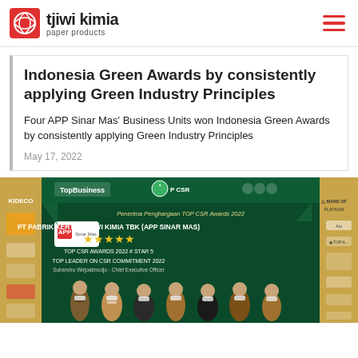tjiwi kimia paper products
Indonesia Green Awards by consistently applying Green Industry Principles
Four APP Sinar Mas' Business Units won Indonesia Green Awards by consistently applying Green Industry Principles
May 17, 2022
[Figure (photo): Award ceremony photo showing PT Pabrik Kertas Tjiwi Kimia TBK (APP Sinar Mas) receiving TOP CSR Awards 2022 Star 5, with group of people on stage in front of green backdrop with Top Business and TOP CSR logos, APP logo displayed with 5 gold stars, text reads TOP CSR AWARDS 2022 # STAR 5 and TOP LEADER ON CSR COMMITMENT 2022 Suhendro Wirjoatmodjo - Chief Executive Officer, KIDECO and other sponsor logos visible on sides.]